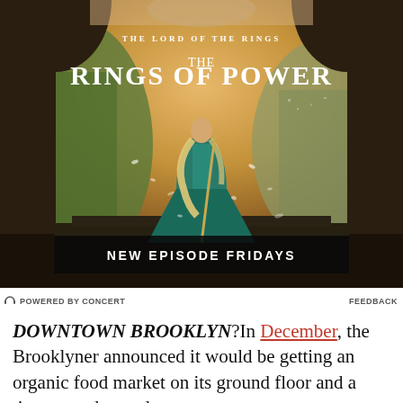[Figure (photo): Advertisement for 'The Lord of the Rings: The Rings of Power' on Amazon Prime Video. Shows a woman in a teal fantasy gown standing on a platform with a mountainous city vista in the background, viewed through a stone arch. Text reads 'THE LORD OF THE RINGS / THE RINGS OF POWER / NEW EPISODE FRIDAYS'.]
POWERED BY CONCERT    FEEDBACK
DOWNTOWN BROOKLYN?In December, the Brooklyner announced it would be getting an organic food market on its ground floor and a tipster sends word that...